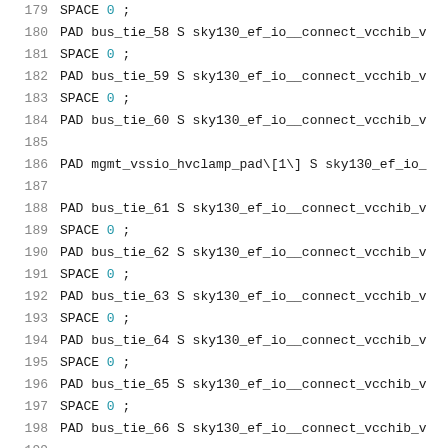179   SPACE 0 ;
180   PAD bus_tie_58 S sky130_ef_io__connect_vcchib_v
181   SPACE 0 ;
182   PAD bus_tie_59 S sky130_ef_io__connect_vcchib_v
183   SPACE 0 ;
184   PAD bus_tie_60 S sky130_ef_io__connect_vcchib_v
185
186   PAD mgmt_vssio_hvclamp_pad\[1\] S sky130_ef_io_
187
188   PAD bus_tie_61 S sky130_ef_io__connect_vcchib_v
189   SPACE 0 ;
190   PAD bus_tie_62 S sky130_ef_io__connect_vcchib_v
191   SPACE 0 ;
192   PAD bus_tie_63 S sky130_ef_io__connect_vcchib_v
193   SPACE 0 ;
194   PAD bus_tie_64 S sky130_ef_io__connect_vcchib_v
195   SPACE 0 ;
196   PAD bus_tie_65 S sky130_ef_io__connect_vcchib_v
197   SPACE 0 ;
198   PAD bus_tie_66 S sky130_ef_io__connect_vcchib_v
199
200   PAD mgmt_vdda_hvclamp_pad S sky130_ef_io__vdda